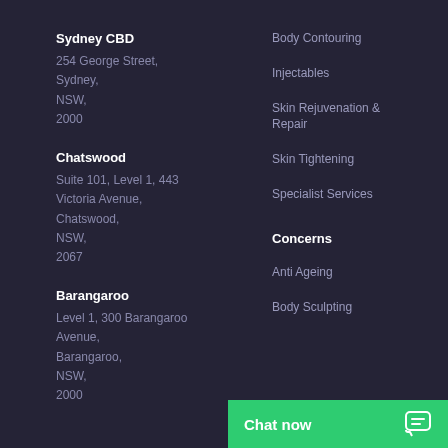Sydney CBD
254 George Street,
Sydney,
NSW,
2000
Chatswood
Suite 101, Level 1, 443 Victoria Avenue,
Chatswood,
NSW,
2067
Barangaroo
Level 1, 300 Barangaroo Avenue,
Barangaroo,
NSW,
2000
Body Contouring
Injectables
Skin Rejuvenation & Repair
Skin Tightening
Specialist Services
Concerns
Anti Ageing
Body Sculpting
Chat now